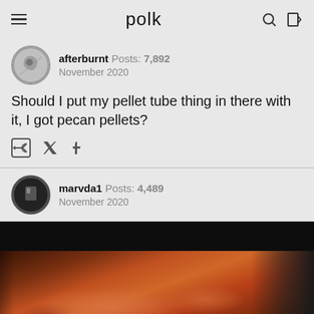polk
afterburnt  Posts: 7,892  November 2020
Should I put my pellet tube thing in there with it, I got pecan pellets?
marvda1  Posts: 4,489  November 2020
[Figure (photo): Photo of cooked/smoked food, appears to be roasted meat on a dark background]